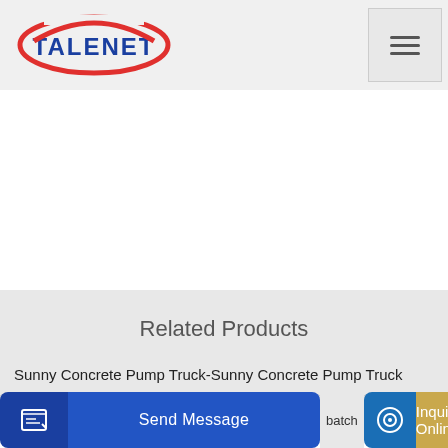[Figure (logo): Talenet company logo with red oval and blue text]
Related Products
Sunny Concrete Pump Truck-Sunny Concrete Pump Truck
Economic Dongfeng 4x2 3 Cubic Meters Concrete Mixer Truck
batch
Send Message
Inquiry Online